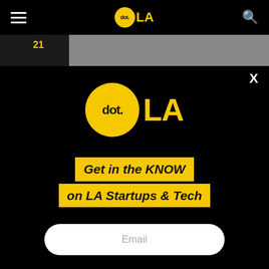dot.LA — navigation bar with hamburger menu and search icon
[Figure (screenshot): Partial view of a dark background image with a yellow '21' label on the left, and a gray strip on the right]
[Figure (logo): dot.LA logo — large yellow circle with 'dot.' text inside and 'LA' in yellow to the right, on black background]
Get in the KNOW on LA Startups & Tech
Email